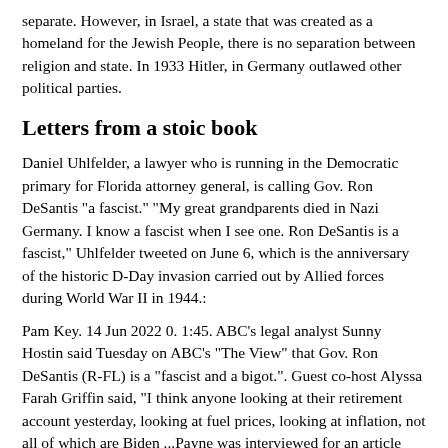separate. However, in Israel, a state that was created as a homeland for the Jewish People, there is no separation between religion and state. In 1933 Hitler, in Germany outlawed other political parties.
Letters from a stoic book
Daniel Uhlfelder, a lawyer who is running in the Democratic primary for Florida attorney general, is calling Gov. Ron DeSantis "a fascist." "My great grandparents died in Nazi Germany. I know a fascist when I see one. Ron DeSantis is a fascist," Uhlfelder tweeted on June 6, which is the anniversary of the historic D-Day invasion carried out by Allied forces during World War II in 1944.:
Pam Key. 14 Jun 2022 0. 1:45. ABC's legal analyst Sunny Hostin said Tuesday on ABC's "The View" that Gov. Ron DeSantis (R-FL) is a "fascist and a bigot.". Guest co-host Alyssa Farah Griffin said, "I think anyone looking at their retirement account yesterday, looking at fuel prices, looking at inflation, not all of which are Biden ...Payne was interviewed for an article about whether or not Trump was a fascist at Vox in May. In that article, Payne rejected the notion that Trump was a fascist. Payne said that Trump's nationalism wasn't revolutionary enough to qualify as fascist because his nationalism wasn't focused on "breaking down all the standards and the ...